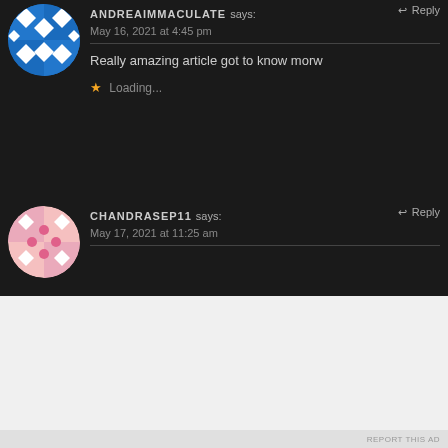[Figure (illustration): Circular avatar with blue and white diamond/cross pattern on dark background — user ANDREAIMMACULATE]
ANDREAIMMACULATE says:
Reply
May 16, 2021 at 4:45 pm
Really amazing article got to know morw
Loading...
[Figure (illustration): Circular avatar with pink and white diamond/dot pattern — user CHANDRASEP11]
CHANDRASEP11 says:
Reply
May 17, 2021 at 11:25 am
We use cookies on our website to give you the most relevant
Privacy & Cookies: This site uses cookies. By continuing to use this website, you agree to their use.
To find out more, including how to control cookies, see here: Cookie Policy
Close and accept